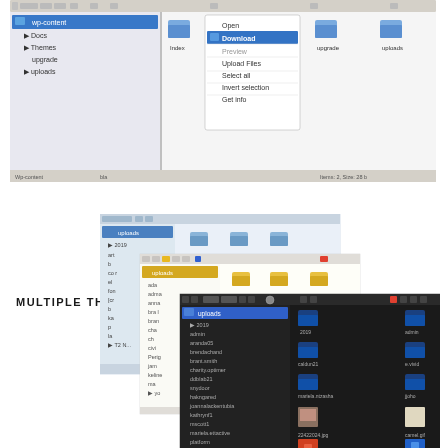[Figure (screenshot): FTP/file manager interface showing wp-content folder tree on left with Docs, Themes, upgrade, uploads folders, and a right-click context menu with options: Open, Download (highlighted in blue), Preview, Upload Files, Select all, Invert selection, Get info. Multiple folder icons visible on right (upgrade, uploads). Status bar at bottom shows 'Wp-content   bla   Items: 2, Size: 28 b']
[Figure (screenshot): Multiple file manager theme screenshots overlapping: a light/default theme showing uploads folder contents, a medium blue theme also showing folder structure, and a dark/black theme showing uploads folder with many subfolders including 2019, admin, aranda05, brendachand, brant.smith, charity.optimer, ddblab21, snydoor, hakngared, joannalackentubia, kathrynf1, mscott1, mariela.ettactive, platform, rassmela.reynolds, verna.rutherford, worrislord4. Right panel shows thumbnail/icon view with folders: 2019, admin, caldun21, e.vivid, mariela.ntzasha, jjoho, 22422024.jpg, camel.gif, html race agori data, contact.txt. Label MULTIPLE THEMES on left side.]